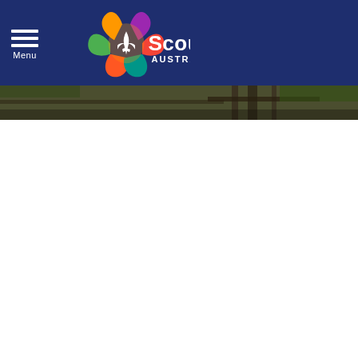[Figure (logo): Scouts Australia logo with colorful fleur-de-lis star emblem and 'Scouts AUSTRALIA' text on dark navy blue header bar with hamburger menu icon labeled 'Menu']
[Figure (photo): A narrow horizontal banner/hero image strip showing a blurred outdoor scene with wooden posts or camp structures and green foliage in the background]